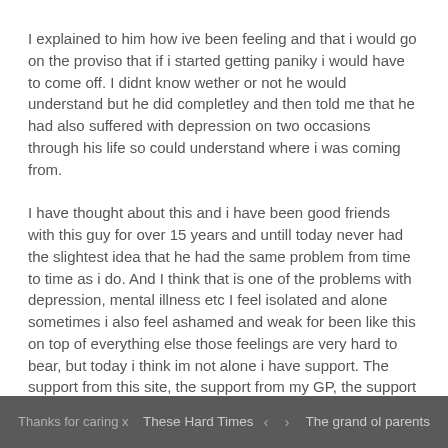I explained to him how ive been feeling and that i would go on the proviso that if i started getting paniky i would have to come off. I didnt know wether or not he would understand but he did completley and then told me that he had also suffered with depression on two occasions through his life so could understand where i was coming from.
I have thought about this and i have been good friends with this guy for over 15 years and untill today never had the slightest idea that he had the same problem from time to time as i do. And I think that is one of the problems with depression, mental illness etc I feel isolated and alone sometimes i also feel ashamed and weak for been like this on top of everything else those feelings are very hard to bear, but today i think im not alone i have support. The support from this site, the support from my GP, the support from colleages and co workers and most importantly the support of my family and my wonderful wife. With all that in my corner surely im going to be ok.
Thanks for caring x   These Hard Times  < >  The grand ol parents